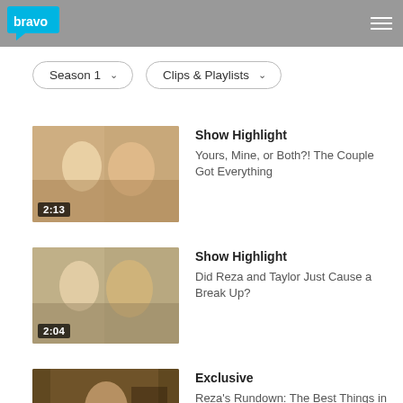Bravo
[Figure (screenshot): Season 1 dropdown button and Clips & Playlists dropdown button]
[Figure (photo): Video thumbnail showing two people, duration 2:13]
Show Highlight
Yours, Mine, or Both?! The Couple Got Everything
[Figure (photo): Video thumbnail showing two people, duration 2:04]
Show Highlight
Did Reza and Taylor Just Cause a Break Up?
[Figure (photo): Video thumbnail showing man, duration 0:55]
Exclusive
Reza's Rundown: The Best Things in Life Come from thehe 70's